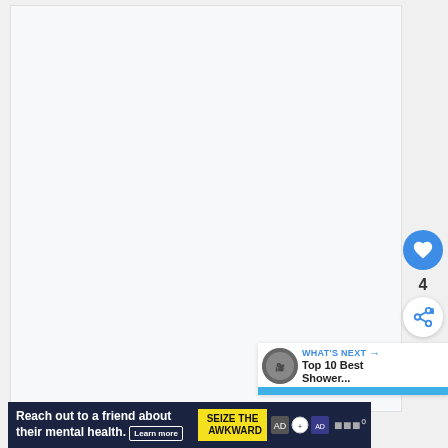[Figure (screenshot): Large mostly blank white/light gray content area, likely a video or article embed space]
[Figure (infographic): Like button (blue circle with heart icon), count of 4, and share button (white circle with share icon) on the right side]
[Figure (screenshot): What's Next panel showing thumbnail and title 'Top 10 Best Shower...' with blue progress/label bar]
[Figure (screenshot): Advertisement banner: 'Reach out to a friend about their mental health. Learn more' with SEIZE THE AWKWARD branding and Ad Council logos]